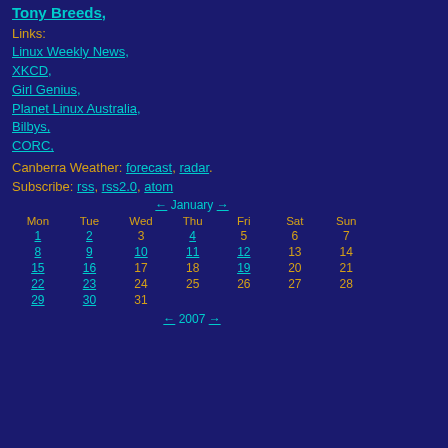Tony Breeds,
Links:
Linux Weekly News,
XKCD,
Girl Genius,
Planet Linux Australia,
Bilbys,
CORC,
Canberra Weather: forecast, radar.
Subscribe: rss, rss2.0, atom
| Mon | Tue | Wed | Thu | Fri | Sat | Sun |
| --- | --- | --- | --- | --- | --- | --- |
| 1 | 2 | 3 | 4 | 5 | 6 | 7 |
| 8 | 9 | 10 | 11 | 12 | 13 | 14 |
| 15 | 16 | 17 | 18 | 19 | 20 | 21 |
| 22 | 23 | 24 | 25 | 26 | 27 | 28 |
| 29 | 30 | 31 |  |  |  |  |
← 2007 →